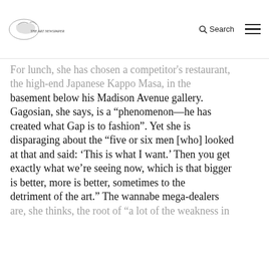The Art Newspaper — Search | Navigation
For lunch, she has chosen a competitor's restaurant, the high-end Japanese Kappo Masa, in the basement below his Madison Avenue gallery. Gagosian, she says, is a “phenomenon—he has created what Gap is to fashion”. Yet she is disparaging about the “five or six men [who] looked at that and said: ‘This is what I want.’ Then you get exactly what we’re seeing now, which is that bigger is better, more is better, sometimes to the detriment of the art.” The wannabe mega-dealers are, she thinks, the root of “a lot of the weakness in
[Figure (screenshot): Red 'Open in app' button overlay]
model. There’s no imagination, no emotion.
Continue to the website